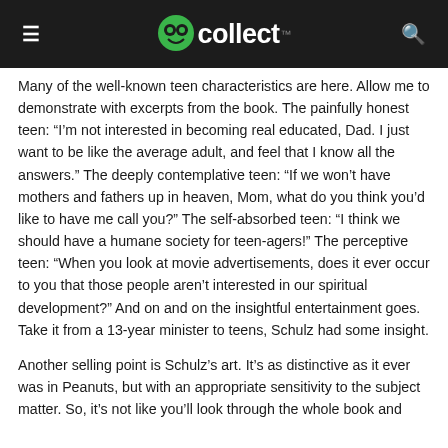GoCollect
Many of the well-known teen characteristics are here. Allow me to demonstrate with excerpts from the book. The painfully honest teen: “I’m not interested in becoming real educated, Dad. I just want to be like the average adult, and feel that I know all the answers.” The deeply contemplative teen: “If we won’t have mothers and fathers up in heaven, Mom, what do you think you’d like to have me call you?” The self-absorbed teen: “I think we should have a humane society for teen-agers!” The perceptive teen: “When you look at movie advertisements, does it ever occur to you that those people aren’t interested in our spiritual development?” And on and on the insightful entertainment goes. Take it from a 13-year minister to teens, Schulz had some insight.
Another selling point is Schulz’s art. It’s as distinctive as it ever was in Peanuts, but with an appropriate sensitivity to the subject matter. So, it’s not like you’ll look through the whole book and